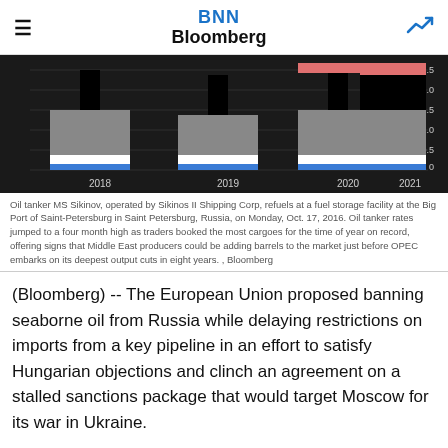BNN Bloomberg
[Figure (bar-chart): Stacked bar chart showing oil-related data from 2018 to 2021 with black, gray, blue, and red bars on dark background. Y-axis shows values 0 to 2.5. X-axis shows years 2018, 2019, 2020, 2021.]
Oil tanker MS Sikinov, operated by Sikinos II Shipping Corp, refuels at a fuel storage facility at the Big Port of Saint-Petersburg in Saint Petersburg, Russia, on Monday, Oct. 17, 2016. Oil tanker rates jumped to a four month high as traders booked the most cargoes for the time of year on record, offering signs that Middle East producers could be adding barrels to the market just before OPEC embarks on its deepest output cuts in eight years. , Bloomberg
(Bloomberg) -- The European Union proposed banning seaborne oil from Russia while delaying restrictions on imports from a key pipeline in an effort to satisfy Hungarian objections and clinch an agreement on a stalled sanctions package that would target Moscow for its war in Ukraine.
The European Commission, the EU's executive arm, sent a revised proposal to national governments on Saturday that would spare shipments of oil through the giant Druzhba pipeline, which is Hungary's main source of crude imports,